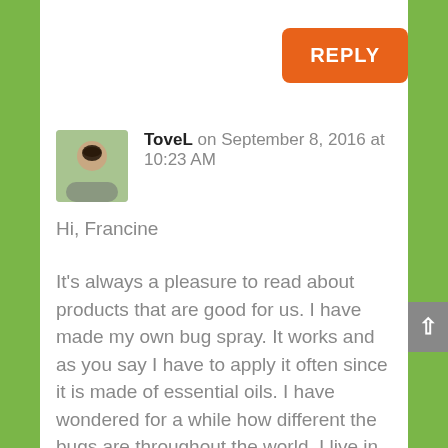[Figure (other): Orange REPLY button in top right corner]
[Figure (photo): Avatar photo of ToveL, a woman with short dark hair against a green background]
ToveL on September 8, 2016 at 10:23 AM
Hi, Francine
It’s always a pleasure to read about products that are good for us. I have made my own bug spray. It works and as you say I have to apply it often since it is made of essential oils. I have wondered for a while how different the bugs are throughout the world. I live in Norway and we have different kinds of insects but not the very big ones luckily. How is the insect where you live? Can they cause you health issues if they bite you? Does your